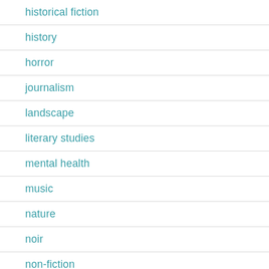historical fiction
history
horror
journalism
landscape
literary studies
mental health
music
nature
noir
non-fiction